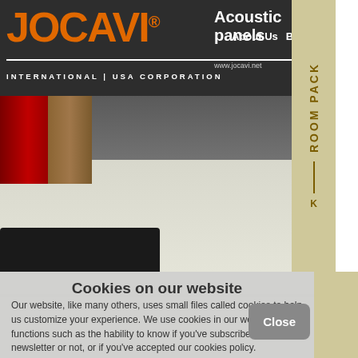[Figure (screenshot): Jocavi Acoustic Panels website header with dark background showing acoustic panel products, logo, and navigation]
Cookies on our website
Our website, like many others, uses small files called cookies to help us customize your experience. We use cookies in our website for functions such as the hability to know if you've subscribed to our newsletter or not, or if you've accepted our cookies policy. By continuing to use this website, you consent to our use of cookies on this device in accordance with our Cookies Policy, unless you have explicitly disabled them.